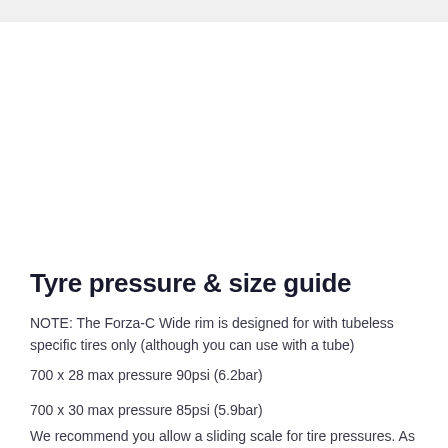Tyre pressure & size guide
NOTE: The Forza-C Wide rim is designed for with tubeless specific tires only (although you can use with a tube)
700 x 28 max pressure 90psi (6.2bar)
700 x 30 max pressure 85psi (5.9bar)
We recommend you allow a sliding scale for tire pressures. As a general rule, the wider the tire is (more air volume) the less air